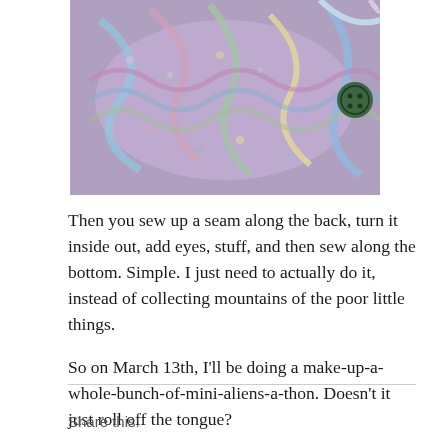[Figure (photo): Close-up photo of a crocheted multicolored item (mini alien) in pastel blues, pinks, greens, and yellows, lying on a white surface. A button is visible on the right side.]
Then you sew up a seam along the back, turn it inside out, add eyes, stuff, and then sew along the bottom. Simple. I just need to actually do it, instead of collecting mountains of the poor little things.
So on March 13th, I'll be doing a make-up-a-whole-bunch-of-mini-aliens-a-thon. Doesn't it just roll off the tongue?
Share this: